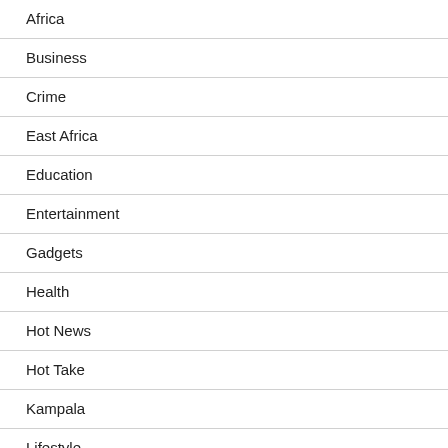Africa
Business
Crime
East Africa
Education
Entertainment
Gadgets
Health
Hot News
Hot Take
Kampala
Lifestyle
National News